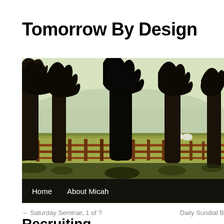Tomorrow By Design
[Figure (photo): Outdoor scene with bare trees in a row along a wooden fence running through a grassy field, with sheep visible in the background. Dark silhouetted trees contrast against a misty, light sky. Navigation bar below with 'Home' and 'About Micah' links.]
← Saturday Seminar, 1 of ?
Daily Sundial B
Recruiting